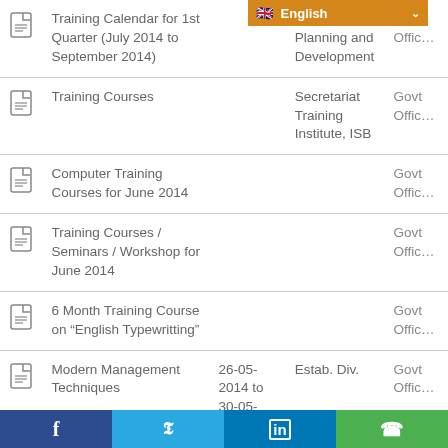|  | Title | Date | Organization | Type |
| --- | --- | --- | --- | --- |
| [pdf] | Training Calendar for 1st Quarter (July 2014 to September 2014) |  | Ministry of Planning and Development | Govt Office |
| [pdf] | Training Courses |  | Secretariat Training Institute, ISB | Govt Office |
| [pdf] | Computer Training Courses for June 2014 |  |  | Govt Office |
| [pdf] | Training Courses / Seminars / Workshop for June 2014 |  |  | Govt Office |
| [pdf] | 6 Month Training Course on "English Typewritting" |  |  | Govt Office |
| [pdf] | Modern Management Techniques | 26-05-2014 to 30-05-2014 | Estab. Div. | Govt Office |